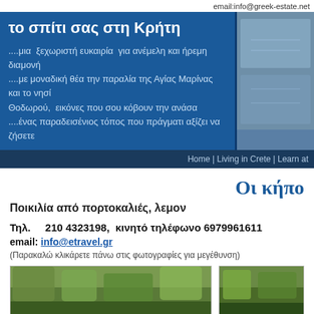email:info@greek-estate.net
το σπίτι σας στη Κρήτη
....μια  ξεχωριστή ευκαιρία  για ανέμελη και ήρεμη διαμονή
....με μοναδική θέα την παραλία της Αγίας Μαρίνας και το νησί Θοδωρού,  εικόνες που σου κόβουν την ανάσα
....ένας παραδεισένιος τόπος που πράγματι αξίζει να ζήσετε
Home | Living in Crete | Learn at
Οι κήπο
Ποικιλία από πορτοκαλιές, λεμον
Τηλ.    210 4323198,  κινητό τηλέφωνο 6979961611
email: info@etravel.gr
(Παρακαλώ κλικάρετε πάνω στις φωτογραφίες για μεγέθυνση)
[Figure (photo): Outdoor garden/vegetation photo 1]
[Figure (photo): Outdoor garden/vegetation photo 2]